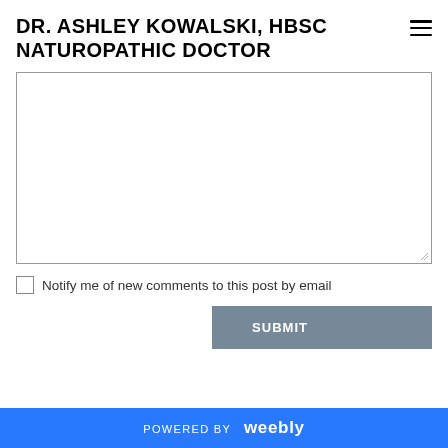DR. ASHLEY KOWALSKI, HBSC NATUROPATHIC DOCTOR
[Figure (other): Empty textarea input box with resize handle in bottom-right corner]
Notify me of new comments to this post by email
SUBMIT
POWERED BY weebly